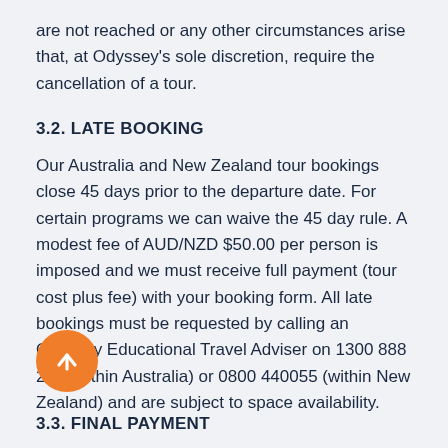are not reached or any other circumstances arise that, at Odyssey's sole discretion, require the cancellation of a tour.
3.2. LATE BOOKING
Our Australia and New Zealand tour bookings close 45 days prior to the departure date. For certain programs we can waive the 45 day rule. A modest fee of AUD/NZD $50.00 per person is imposed and we must receive full payment (tour cost plus fee) with your booking form. All late bookings must be requested by calling an Odyssey Educational Travel Adviser on 1300 888 225 (within Australia) or 0800 440055 (within New Zealand) and are subject to space availability.
3.3. FINAL PAYMENT